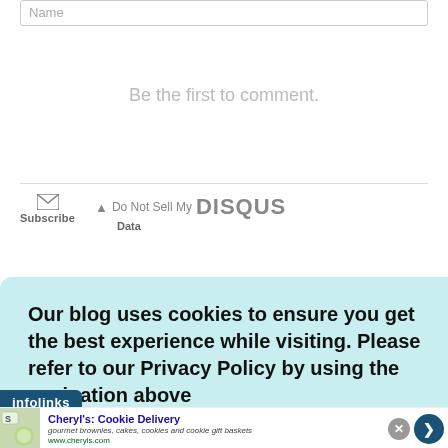Name
Be the first to comment.
[Figure (other): Disqus footer with Subscribe (envelope icon) and Do Not Sell My Data (DISQUS) buttons separated by a horizontal rule]
Our blog uses cookies to ensure you get the best experience while visiting. Please refer to our Privacy Policy by using the navigation above
[Figure (logo): infolinks badge/logo in dark blue]
[Figure (other): Advertisement banner for Cheryl's: Cookie Delivery - gourmet brownies, cakes, cookies and cookie gift baskets, www.cheryls.com]